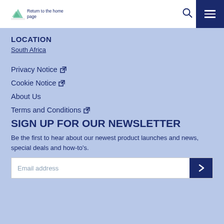Return to the home page
LOCATION
South Africa
Privacy Notice
Cookie Notice
About Us
Terms and Conditions
SIGN UP FOR OUR NEWSLETTER
Be the first to hear about our newest product launches and news, special deals and how-to's.
Email address